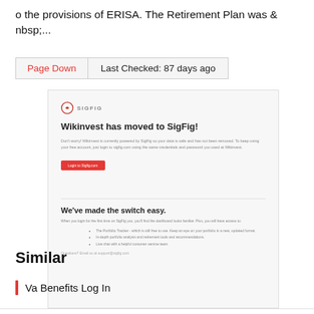o the provisions of ERISA. The Retirement Plan was & nbsp;...
Page Down | Last Checked: 87 days ago
[Figure (screenshot): Screenshot of SigFig website showing 'Wikinvest has moved to SigFig!' message with logo, login button, and 'We've made the switch easy.' section with bullet points.]
Similar
Va Benefits Log In